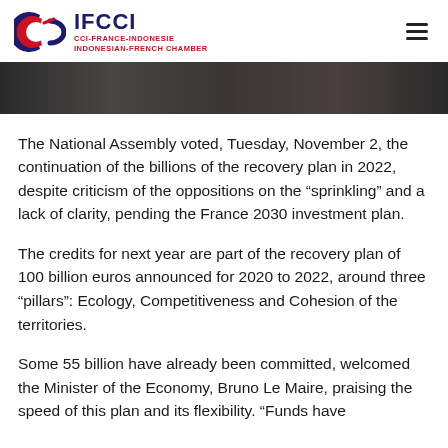IFCCI CCI-FRANCE-INDONESIE INDONESIAN-FRENCH CHAMBER
[Figure (photo): A dark photograph strip showing people, partially visible at the top of the article page.]
The National Assembly voted, Tuesday, November 2, the continuation of the billions of the recovery plan in 2022, despite criticism of the oppositions on the “sprinkling” and a lack of clarity, pending the France 2030 investment plan.
The credits for next year are part of the recovery plan of 100 billion euros announced for 2020 to 2022, around three “pillars”: Ecology, Competitiveness and Cohesion of the territories.
Some 55 billion have already been committed, welcomed the Minister of the Economy, Bruno Le Maire, praising the speed of this plan and its flexibility. “Funds have